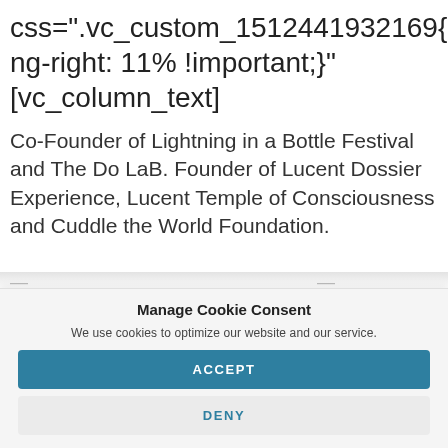css=".vc_custom_1512441932169{padding-right: 11% !important;}" [vc_column_text]
Co-Founder of Lightning in a Bottle Festival and The Do LaB. Founder of Lucent Dossier Experience, Lucent Temple of Consciousness and Cuddle the World Foundation.
Manage Cookie Consent
We use cookies to optimize our website and our service.
ACCEPT
DENY